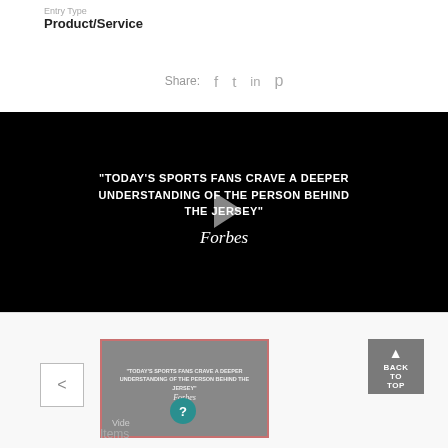Entry Type
Product/Service
Share:
[Figure (screenshot): Video player with black background showing quote text: "TODAY'S SPORTS FANS CRAVE A DEEPER UNDERSTANDING OF THE PERSON BEHIND THE JERSEY" Forbes, with a play button overlay]
[Figure (screenshot): Thumbnail image of the video with pink/red border, showing same Forbes quote text in small print, with a Video label and question mark icon]
Items
BACK TO TOP